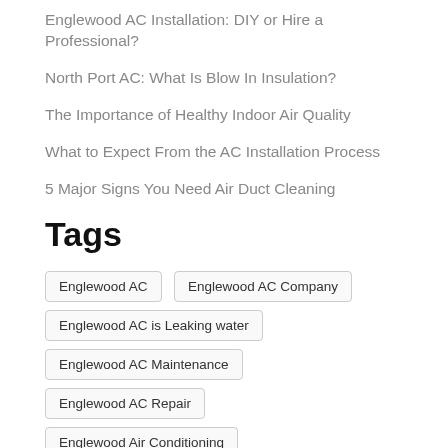Englewood AC Installation: DIY or Hire a Professional?
North Port AC: What Is Blow In Insulation?
The Importance of Healthy Indoor Air Quality
What to Expect From the AC Installation Process
5 Major Signs You Need Air Duct Cleaning
Tags
Englewood AC
Englewood AC Company
Englewood AC is Leaking water
Englewood AC Maintenance
Englewood AC Repair
Englewood Air Conditioning
North Port AC
North Port AC Blowing Hot Air